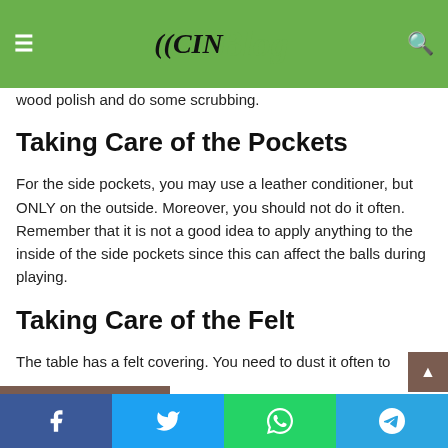These tables have a lot of wood. While taking care of these tables, you should use any wooden furniture. So, you can dust whenever you feel they are dusty. You can also use wood polish and do some scrubbing.
Taking Care of the Pockets
For the side pockets, you may use a leather conditioner, but ONLY on the outside. Moreover, you should not do it often. Remember that it is not a good idea to apply anything to the inside of the side pockets since this can affect the balls during playing.
Taking Care of the Felt
The table has a felt covering. You need to dust it often to